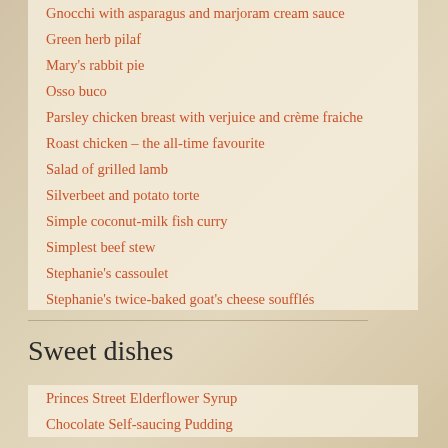Gnocchi with asparagus and marjoram cream sauce
Green herb pilaf
Mary's rabbit pie
Osso buco
Parsley chicken breast with verjuice and crème fraiche
Roast chicken – the all-time favourite
Salad of grilled lamb
Silverbeet and potato torte
Simple coconut-milk fish curry
Simplest beef stew
Stephanie's cassoulet
Stephanie's twice-baked goat's cheese soufflés
Sweet dishes
Princes Street Elderflower Syrup
Chocolate Self-saucing Pudding